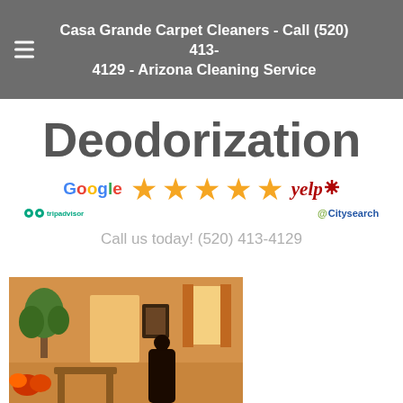Casa Grande Carpet Cleaners - Call (520) 413-4129 - Arizona Cleaning Service
Deodorization
[Figure (logo): Review platform logos: Google, TripAdvisor, five gold stars, Yelp, Citysearch]
Call us today! (520) 413-4129
[Figure (photo): Interior room photo showing warm orange/yellow decor with plants, curtains, and furniture]